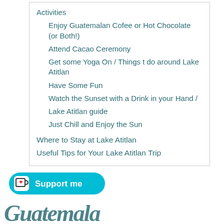Activities
Enjoy Guatemalan Cofee or Hot Chocolate (or Both!)
Attend Cacao Ceremony
Get some Yoga On / Things t do around Lake Atitlan
Have Some Fun
Watch the Sunset with a Drink in your Hand /
Lake Atitlan guide
Just Chill and Enjoy the Sun
Where to Stay at Lake Atitlan
Useful Tips for Your Lake Atitlan Trip
[Figure (illustration): Ko-fi support button with cup icon and heart, cyan rounded rectangle with 'Support me' text]
[Figure (illustration): Partial cursive/handwritten text at bottom of page, cut off]